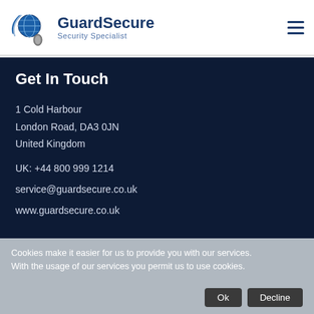[Figure (logo): GuardSecure Security Specialist logo with globe and swoosh graphic]
Get In Touch
1 Cold Harbour
London Road, DA3 0JN
United Kingdom
UK: +44 800 999 1214
service@guardsecure.co.uk
www.guardsecure.co.uk
Our Location
Cookies make it easier for us to provide you with our services. With the usage of our services you permit us to use cookies.